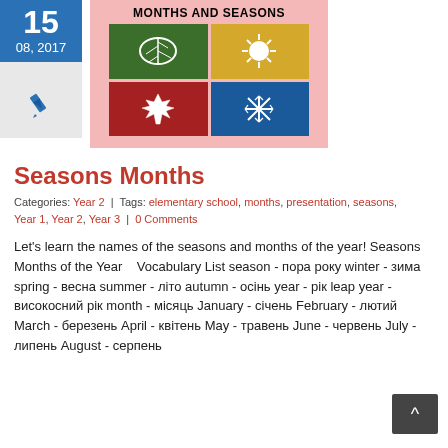[Figure (other): Date box showing '15' and '08, 2017' in blue background, with a pen/edit icon below on grey background]
[Figure (illustration): Months and Seasons illustration: pink background, four colored squares showing spring leaf (green), summer sun (yellow), autumn leaf (red), winter snowflake (blue)]
Seasons Months
Categories: Year 2 | Tags: elementary school, months, presentation, seasons, Year 1, Year 2, Year 3 | 0 Comments
Let's learn the names of the seasons and months of the year! Seasons Months of the Year   Vocabulary List season - пора року winter - зима spring - весна summer - літо autumn - осінь year - рік leap year - високосний рік month - місяць January - січень February - лютий March - березень April - квітень May - травень June - червень July - липень August - серпень